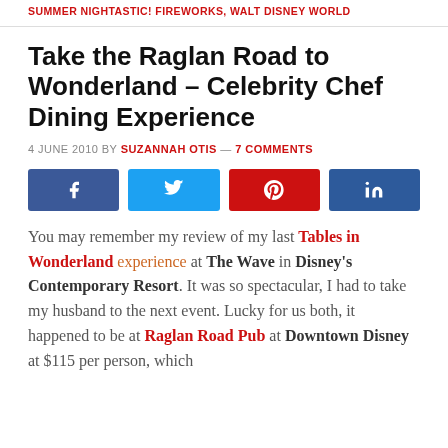SUMMER NIGHTASTIC! FIREWORKS, WALT DISNEY WORLD
Take the Raglan Road to Wonderland – Celebrity Chef Dining Experience
4 JUNE 2010 BY SUZANNAH OTIS — 7 COMMENTS
[Figure (other): Social share buttons: Facebook, Twitter, Pinterest, LinkedIn]
You may remember my review of my last Tables in Wonderland experience at The Wave in Disney's Contemporary Resort. It was so spectacular, I had to take my husband to the next event. Lucky for us both, it happened to be at Raglan Road Pub at Downtown Disney at $115 per person, which